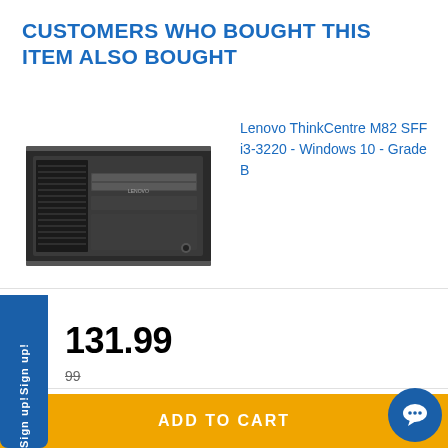CUSTOMERS WHO BOUGHT THIS ITEM ALSO BOUGHT
[Figure (photo): Lenovo ThinkCentre M82 SFF desktop computer, small form factor, black, viewed from the front-left angle showing optical drive and front panel]
Lenovo ThinkCentre M82 SFF i3-3220 - Windows 10 - Grade B
131.99
99 (strikethrough original price)
ently Viewed Items
ADD TO CART